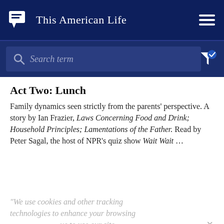This American Life
Search term
Act Two: Lunch
Family dynamics seen strictly from the parents' perspective. A story by Ian Frazier, Laws Concerning Food and Drink; Household Principles; Lamentations of the Father. Read by Peter Sagal, the host of NPR's quiz show Wait Wait ...
We use cookies and other tracking technologies to enhance your browsing ... continue to use our site.
Act Three: Dinner
To end this show about parents and children at mealtime, a story about what happens when children have to become the parents. Dave Eggers' mother and father died when he